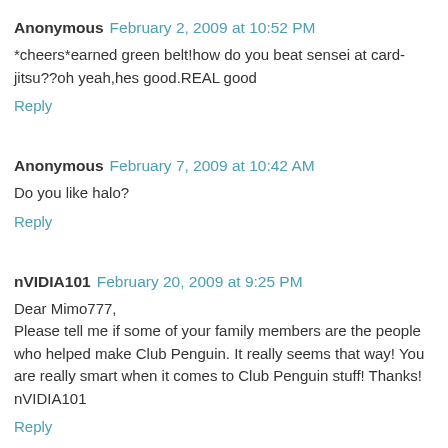Anonymous  February 2, 2009 at 10:52 PM
*cheers*earned green belt!how do you beat sensei at card-jitsu??oh yeah,hes good.REAL good
Reply
Anonymous  February 7, 2009 at 10:42 AM
Do you like halo?
Reply
nVIDIA101  February 20, 2009 at 9:25 PM
Dear Mimo777,
Please tell me if some of your family members are the people who helped make Club Penguin. It really seems that way! You are really smart when it comes to Club Penguin stuff! Thanks!
nVIDIA101
Reply